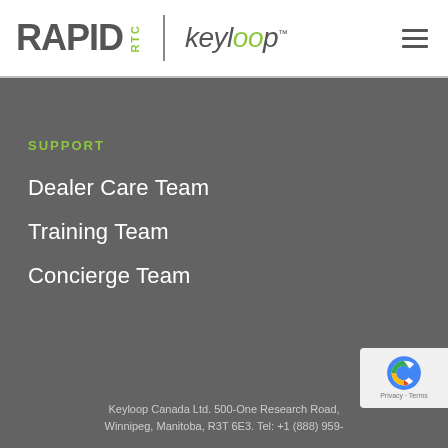RAPID RTC | keyloop
SUPPORT
Dealer Care Team
Training Team
Concierge Team
Keyloop Canada Ltd. 500-One Research Road, Winnipeg, Manitoba, R3T 6E3. Tel: +1 (888) 959-